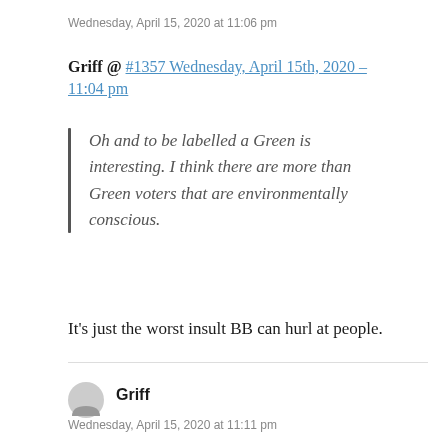Wednesday, April 15, 2020 at 11:06 pm
Griff @ #1357 Wednesday, April 15th, 2020 – 11:04 pm
Oh and to be labelled a Green is interesting. I think there are more than Green voters that are environmentally conscious.
It's just the worst insult BB can hurl at people.
Griff
Wednesday, April 15, 2020 at 11:11 pm